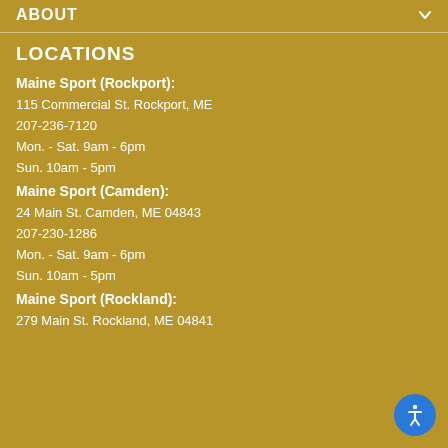ABOUT
LOCATIONS
Maine Sport (Rockport):
115 Commercial St. Rockport, ME
207-236-7120
Mon. - Sat. 9am - 6pm
Sun. 10am - 5pm
Maine Sport (Camden):
24 Main St. Camden, ME 04843
207-230-1286
Mon. - Sat. 9am - 6pm
Sun. 10am - 5pm
Maine Sport (Rockland):
279 Main St. Rockland, ME 04841